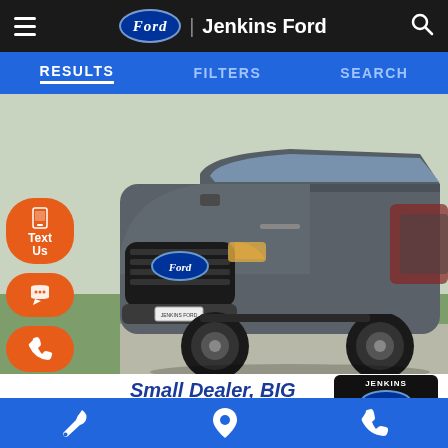Jenkins Ford
RESULTS | FILTERS | SEARCH
[Figure (photo): Gray Ford F-150 pickup truck, front three-quarter view, parked on a paved lot with green grass in background. Jenkins Ford dealer logo plate visible on front bumper.]
Small Dealer, BIG SAVINGS!
Compare  Window Sticker
Ext: CARBONIZED GRAY METALLIC
Service | Location | Phone